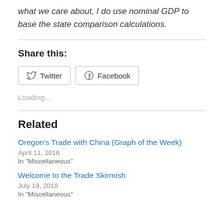what we care about, I do use nominal GDP to base the state comparison calculations.
Share this:
[Figure (other): Twitter and Facebook share buttons]
Loading...
Related
Oregon's Trade with China (Graph of the Week)
April 11, 2018
In "Miscellaneous"
Welcome to the Trade Skirmish
July 19, 2018
In "Miscellaneous"